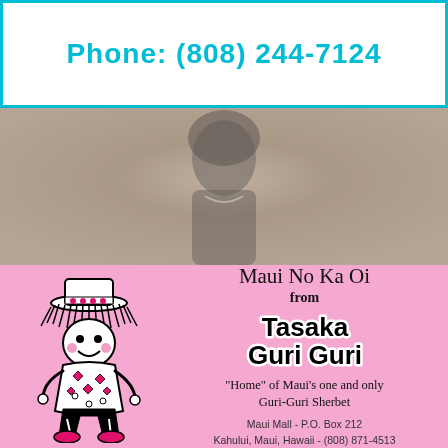Phone: (808) 244-7124
[Figure (photo): Faded background photo of a person wearing dark clothing and a necklace]
[Figure (illustration): Pink advertisement card for Tasaka Guri Guri featuring a cartoon mascot character (doll-like figure with hat, Hawaiian dress, and red shoes), text reading 'Maui No Ka Oi from Tasaka Guri Guri, Home of Maui's one and only Guri-Guri Sherbet, Maui Mall - P.O. Box 212, Kahului, Maui, Hawaii - (808) 871-4513']